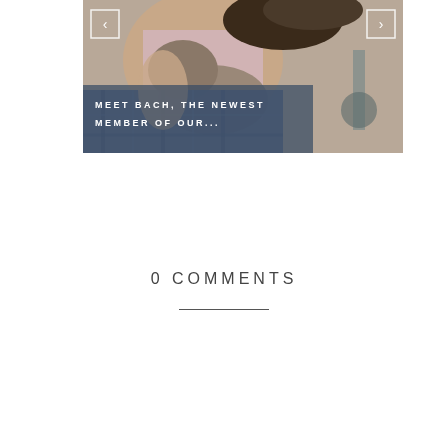[Figure (photo): A photo of a person holding/petting a cat (Bach), with navigation arrows on left and right sides and an overlay text reading 'MEET BACH, THE NEWEST MEMBER OF OUR...' in the lower left portion of the image.]
0 COMMENTS